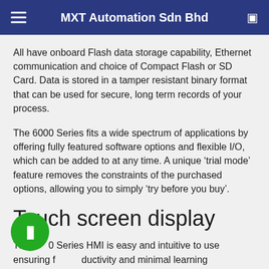MXT Automation Sdn Bhd
All have onboard Flash data storage capability, Ethernet communication and choice of Compact Flash or SD Card. Data is stored in a tamper resistant binary format that can be used for secure, long term records of your process.
The 6000 Series fits a wide spectrum of applications by offering fully featured software options and flexible I/O, which can be added to at any time. A unique ‘trial mode’ feature removes the constraints of the purchased options, allowing you to simply ‘try before you buy’.
Touch screen display
The 6000 Series HMI is easy and intuitive to use ensuring full productivity and minimal learning requirements. It also incorporates a ‘Pop Up’ full ‘QWERTY’ keyboard to facilitate easy data or message entry. There are no complicated button